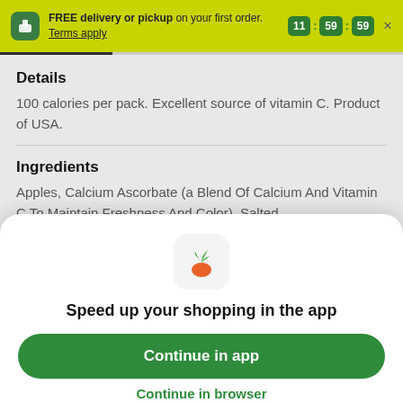FREE delivery or pickup on your first order. Terms apply. 11:59:59
Details
100 calories per pack. Excellent source of vitamin C. Product of USA.
Ingredients
Apples, Calcium Ascorbate (a Blend Of Calcium And Vitamin C To Maintain Freshness And Color), Salted Caramel Dip: High Fructose Corn Syrup, Sweetened
[Figure (logo): Instacart carrot logo icon - green leaves above orange carrot shape]
Speed up your shopping in the app
Continue in app
Continue in browser